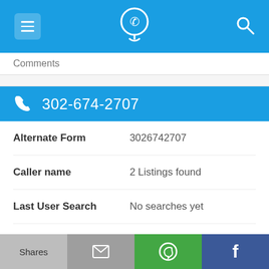Navigation bar with hamburger menu, phone location icon, and search icon
Comments
302-674-2707
| Field | Value |
| --- | --- |
| Alternate Form | 3026742707 |
| Caller name | 2 Listings found |
| Last User Search | No searches yet |
| Comments |  |
302-674-2562
Shares | Email | WhatsApp | Facebook